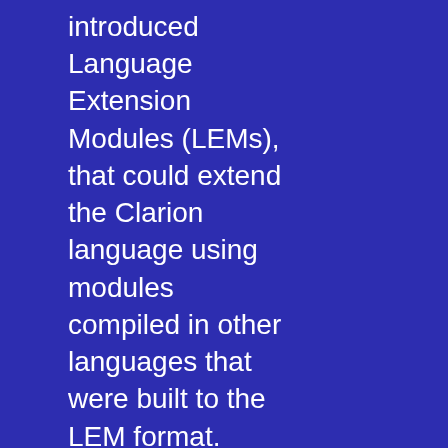introduced Language Extension Modules (LEMs), that could extend the Clarion language using modules compiled in other languages that were built to the LEM format. Clarion Software and many third-party tool developers created LEMs for all purposes, including an extension for connecting to other databases such as dBase, Clipper and Paradox. This includes the original install diskettes in vfd